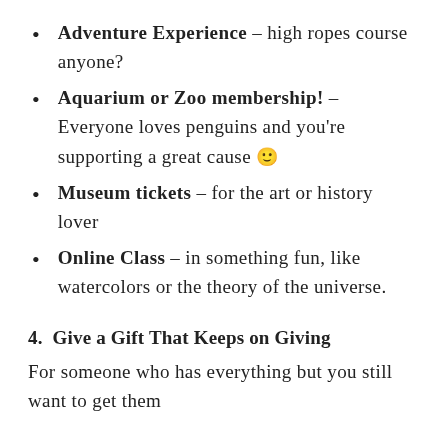Adventure Experience – high ropes course anyone?
Aquarium or Zoo membership! – Everyone loves penguins and you're supporting a great cause 🙂
Museum tickets – for the art or history lover
Online Class – in something fun, like watercolors or the theory of the universe.
4.  Give a Gift That Keeps on Giving
For someone who has everything but you still want to get them